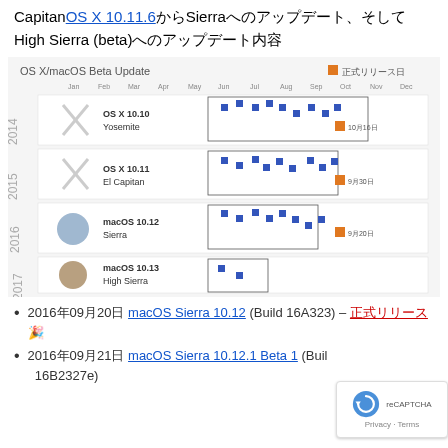Capitan OS X 10.11.6からSierra、そしてHigh Sierra (beta)へのアップデート内容
[Figure (infographic): OS X/macOS Beta Update timeline chart showing beta release dots and official release dates for Yosemite (2014), El Capitan (2015), Sierra (2016), and High Sierra (2017) across months Jan-Dec]
2016年09月20日 macOS Sierra 10.12 (Build 16A323) – 正式リリース🎉
2016年09月21日 macOS Sierra 10.12.1 Beta 1 (Build 16B2327e)